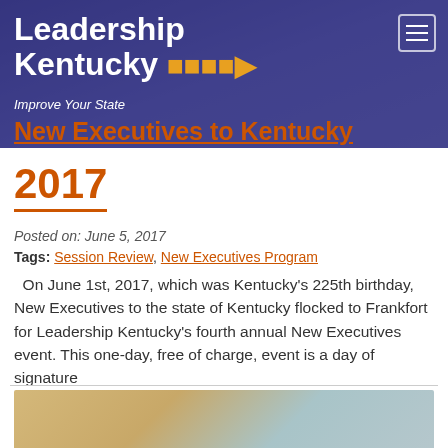Leadership Kentucky — Improve Your State
New Executives to Kentucky 2017
Posted on: June 5, 2017
Tags: Session Review, New Executives Program
On June 1st, 2017, which was Kentucky's 225th birthday, New Executives to the state of Kentucky flocked to Frankfort for Leadership Kentucky's fourth annual New Executives event. This one-day, free of charge, event is a day of signature
read more …
[Figure (photo): Bottom portion of an image partially visible at the bottom of the page]